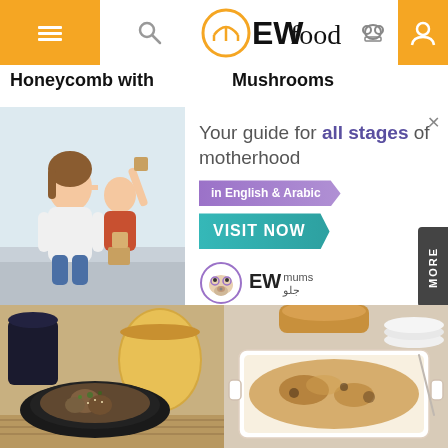EWfood – navigation header with hamburger menu, search icon, logo, chef icon, and profile icon
Honeycomb with
Mushrooms
[Figure (photo): Advertisement banner: A mother and child playing with wooden blocks. Text reads 'Your guide for all stages of motherhood in English & Arabic – VISIT NOW' with EW Mums / جلو logo.]
[Figure (photo): Food photo: A dark plate with a pasta or gnocchi dish garnished with herbs, beside a large round cheese wheel, on a styled table.]
[Figure (photo): Food photo: A white rectangular baking dish with a cheesy baked pasta or potato gratin, with stacked plates and cutlery in the background.]